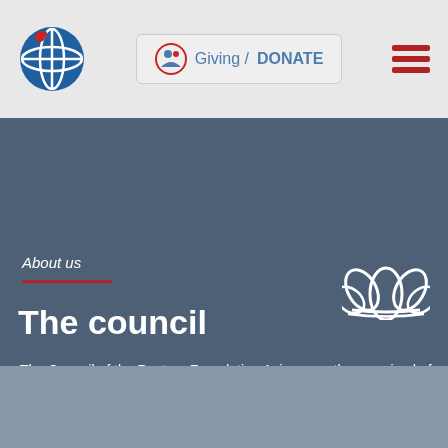[Figure (logo): Pasteur Foundation Asia circular logo with globe and figure design in blue and red]
[Figure (logo): Giving / DONATE button with circular logo icon in a light gray rounded rectangle]
[Figure (illustration): Hamburger menu icon with three red horizontal bars]
About us
The council
[Figure (illustration): White lotus flower decorative icon on dark blue-gray background]
The Council of the Pasteur Foundation Asia currently comprised of 6 members. They are appointed on a two-year term and are eligible for re-election.
[Figure (photo): Partial photo of a person (head and shoulders) with glasses, in the bottom section]